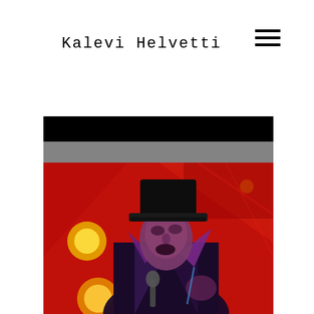Kalevi Helvetti
[Figure (photo): A performer on stage wearing a black top hat and dark costume with a large collar, singing into a microphone. The background is lit in vivid red stage lighting with yellow/orange bokeh light spots visible. The image has a black border/frame around it with a gray bar near the top.]